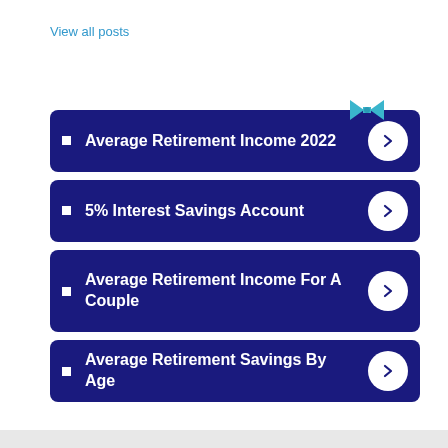View all posts
Average Retirement Income 2022
5% Interest Savings Account
Average Retirement Income For A Couple
Average Retirement Savings By Age